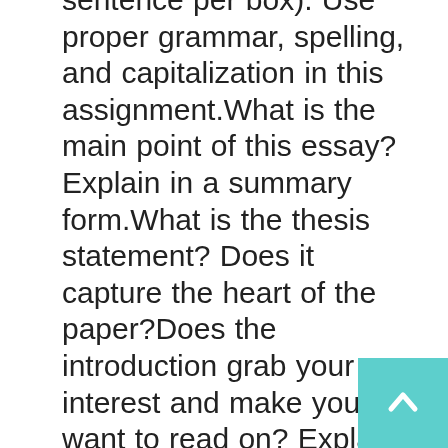sentence per box). Use proper grammar, spelling, and capitalization in this assignment.What is the main point of this essay? Explain in a summary form.What is the thesis statement? Does it capture the heart of the paper?Does the introduction grab your interest and make you want to read on? Explain your answer either way.Does the writing include sensory detail (taste, smell, sound, texture, and color)? Or description that paints an image in your mind?Where should the author add more details or examples? Explain your answer.Is the point of view (tone) appropriate for this type of essay? Third person point of view for all essays with the exception of the narrative essay.What is your favorite part